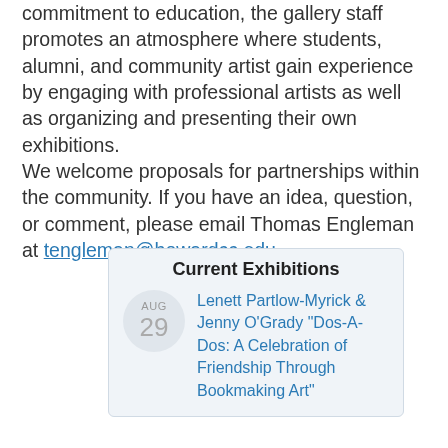commitment to education, the gallery staff promotes an atmosphere where students, alumni, and community artist gain experience by engaging with professional artists as well as organizing and presenting their own exhibitions.
We welcome proposals for partnerships within the community. If you have an idea, question, or comment, please email Thomas Engleman at tengleman@howardcc.edu.
Current Exhibitions
AUG 29 — Lenett Partlow-Myrick & Jenny O'Grady "Dos-A-Dos: A Celebration of Friendship Through Bookmaking Art"